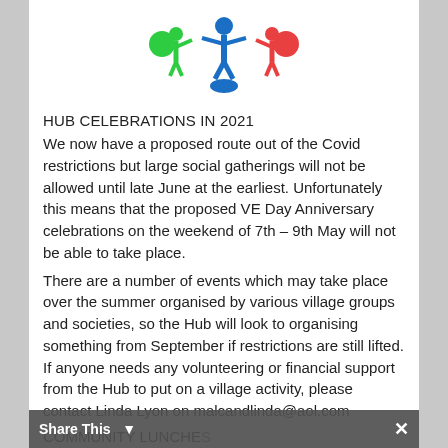[Figure (logo): Community Hub logo showing a blue figure in the center with green and red figures on either side holding hands, with colored circles at the ends]
HUB CELEBRATIONS IN 2021
We now have a proposed route out of the Covid restrictions but large social gatherings will not be allowed until late June at the earliest. Unfortunately this means that the proposed VE Day Anniversary celebrations on the weekend of 7th – 9th May will not be able to take place.
There are a number of events which may take place over the summer organised by various village groups and societies, so the Hub will look to organising something from September if restrictions are still lifted. If anyone needs any volunteering or financial support from the Hub to put on a village activity, please contact Linda Lyon on malcandlinda@aol.com
COMMUNITY LUNCHES
The Hub will continue to support the monthly, hot 2